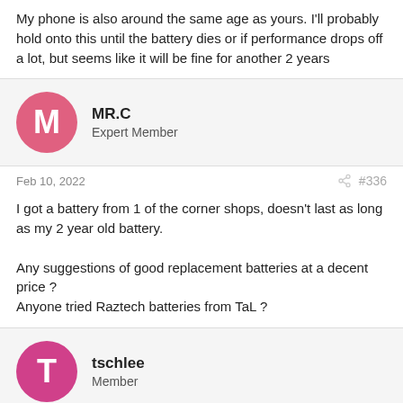My phone is also around the same age as yours. I'll probably hold onto this until the battery dies or if performance drops off a lot, but seems like it will be fine for another 2 years
[Figure (other): User avatar for MR.C - pink circle with letter M]
MR.C
Expert Member
Feb 10, 2022
#336
I got a battery from 1 of the corner shops, doesn't last as long as my 2 year old battery.

Any suggestions of good replacement batteries at a decent price ?
Anyone tried Raztech batteries from TaL ?
[Figure (other): User avatar for tschlee - pink/magenta circle with letter T]
tschlee
Member